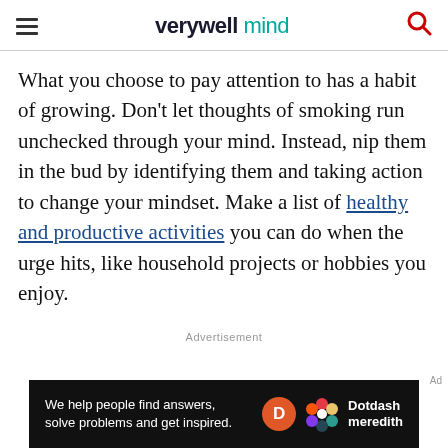verywell mind
What you choose to pay attention to has a habit of growing. Don't let thoughts of smoking run unchecked through your mind. Instead, nip them in the bud by identifying them and taking action to change your mindset. Make a list of healthy and productive activities you can do when the urge hits, like household projects or hobbies you enjoy.
Advertisement
We help people find answers, solve problems and get inspired. Dotdash meredith